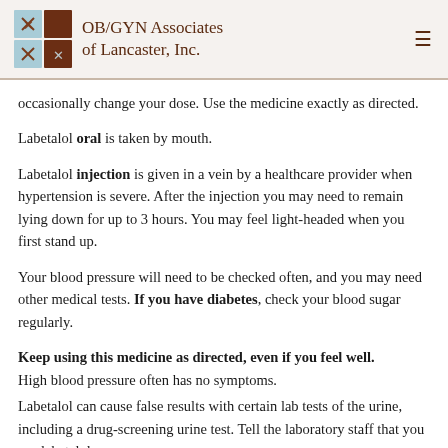OB/GYN Associates of Lancaster, Inc.
occasionally change your dose. Use the medicine exactly as directed.
Labetalol oral is taken by mouth.
Labetalol injection is given in a vein by a healthcare provider when hypertension is severe. After the injection you may need to remain lying down for up to 3 hours. You may feel light-headed when you first stand up.
Your blood pressure will need to be checked often, and you may need other medical tests. If you have diabetes, check your blood sugar regularly.
Keep using this medicine as directed, even if you feel well. High blood pressure often has no symptoms.
Labetalol can cause false results with certain lab tests of the urine, including a drug-screening urine test. Tell the laboratory staff that you use labetalol.